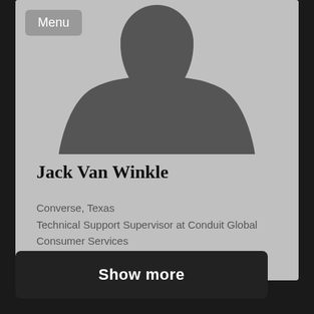[Figure (illustration): Generic grey silhouette avatar of a person (head and shoulders) on a light grey background]
Menu
Jack Van Winkle
Converse, Texas
Technical Support Supervisor at Conduit Global Consumer Services
Show more